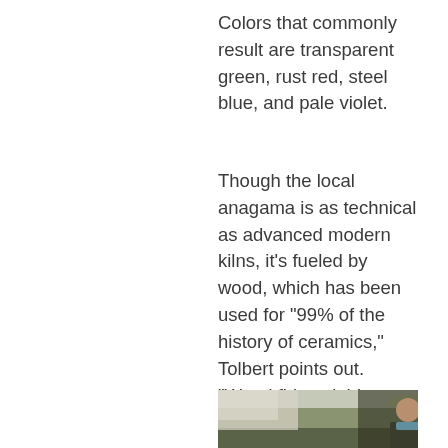Colors that commonly result are transparent green, rust red, steel blue, and pale violet.
Though the local anagama is as technical as advanced modern kilns, it's fueled by wood, which has been used for “99% of the history of ceramics,” Tolbert points out. “Wood firing yields beautiful results, unachievable any other way. And fire is lots of fun.” He also points out that wood is a renewable resource. “It releases no more carbon than was sequestered by the tree as it was growing.”
[Figure (photo): Partial photo showing a person wearing a cap outdoors near what appears to be a kiln or wood structure, with trees in the background.]